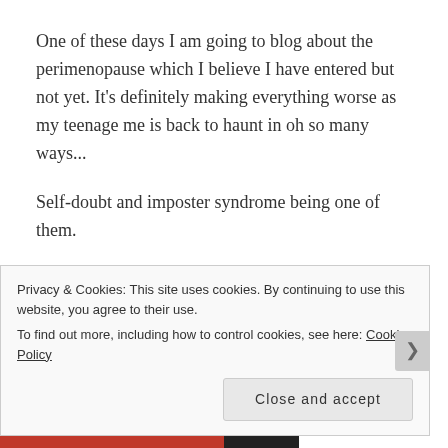One of these days I am going to blog about the perimenopause which I believe I have entered but not yet. It's definitely making everything worse as my teenage me is back to haunt in oh so many ways...
Self-doubt and imposter syndrome being one of them.
I'm pretty sure all writers get imposter syndrome one way or another. Well, maybe not Stephen King. I have
Privacy & Cookies: This site uses cookies. By continuing to use this website, you agree to their use.
To find out more, including how to control cookies, see here: Cookie Policy
Close and accept